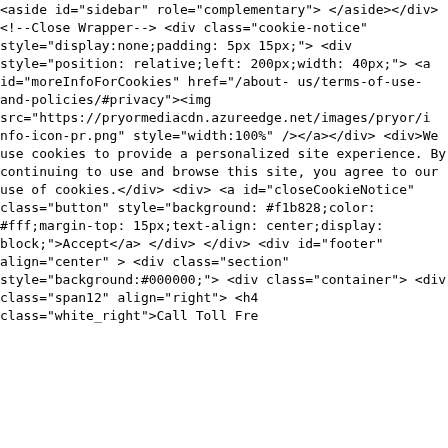</div>

</div>

<aside id="sidebar" role="complementary">
</aside></div><!--Close Wrapper-->

<div class="cookie-notice" style="display:none;padding:
5px 15px;">
     <div style="position: relative;left: 200px;width:
40px;"> <a id="moreInfoForCookies" href="/about-
us/terms-of-use-and-policies/#privacy"><img
src="https://pryormediacdn.azureedge.net/images/pryor/i
nfo-icon-pr.png" style="width:100%" /></a></div>
     <div>We use cookies to provide a personalized site
experience. By continuing to use and browse this site,
you agree to our use of cookies.</div>
     <div>
          <a id="closeCookieNotice" class="button"
style="background: #f1b828;color: #fff;margin-top:
15px;text-align: center;display: block;">Accept</a>
     </div>
</div>



<div id="footer" align="center" >
     <div class="section" style="background:#000000;">
          <div class="container">
               <div class="span12" align="right">
                    <h4 class="white_right">Call Toll Free: